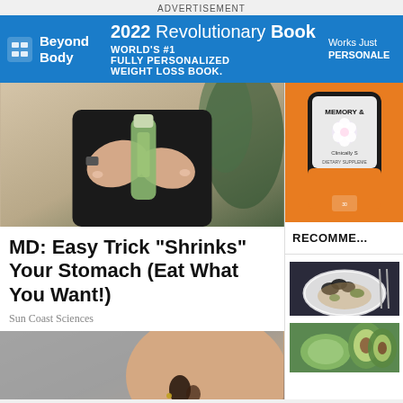ADVERTISEMENT
[Figure (infographic): Beyond Body advertisement banner: logo on left with 'Beyond Body' text, center text '2022 Revolutionary Book — WORLD'S #1 FULLY PERSONALIZED WEIGHT LOSS BOOK.', right side 'Works Just... PERSONALIZE...']
[Figure (photo): Woman in black outfit holding a green smoothie bottle at stomach level, with hands forming a heart shape around it]
MD: Easy Trick "Shrinks" Your Stomach (Eat What You Want!)
Sun Coast Sciences
[Figure (photo): Close-up of a woman's face about to eat a spoonful of white powder/supplement from a metal spoon, gray background]
[Figure (photo): Supplement bottle with orange label showing 'MEMORY &...' text, dark container, dietary supplement product]
RECOMME...
[Figure (photo): Bowl of seafood dish with mussels and vegetables on a white plate]
[Figure (photo): Green avocado soup or smoothie bowls with avocado halves]